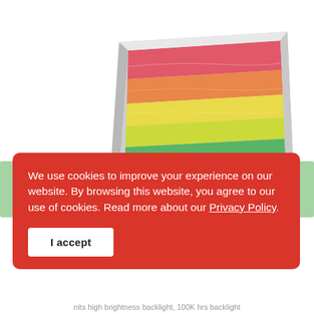[Figure (photo): A monitor or display panel shown at an angle, displaying a rainbow-colored image with horizontal stripes of red, orange, yellow, green, blue, and purple. The monitor has a white/silver bezel and a circular stand base.]
We use cookies to improve your experience on our website. By browsing this website, you agree to our use of cookies. Read more about our Privacy Policy.
I accept
nits high brightness backlight, 100K hrs backlight